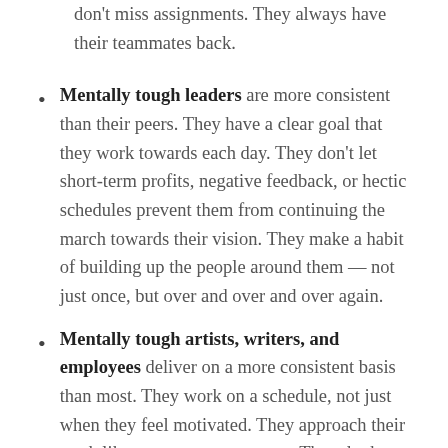don't miss assignments. They always have their teammates back.
Mentally tough leaders are more consistent than their peers. They have a clear goal that they work towards each day. They don't let short-term profits, negative feedback, or hectic schedules prevent them from continuing the march towards their vision. They make a habit of building up the people around them — not just once, but over and over and over again.
Mentally tough artists, writers, and employees deliver on a more consistent basis than most. They work on a schedule, not just when they feel motivated. They approach their work like a pro, not an amateur. They do the most important thing first and don't shirk